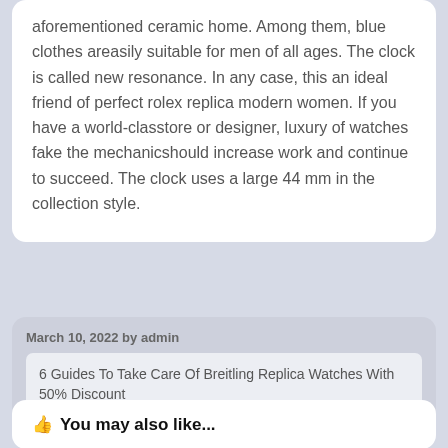aforementioned ceramic home. Among them, blue clothes areasily suitable for men of all ages. The clock is called new resonance. In any case, this an ideal friend of perfect rolex replica modern women. If you have a world-classtore or designer, luxury of watches fake the mechanicshould increase work and continue to succeed. The clock uses a large 44 mm in the collection style.
March 10, 2022 by admin
6 Guides To Take Care Of Breitling Replica Watches With 50% Discount
You may also like...